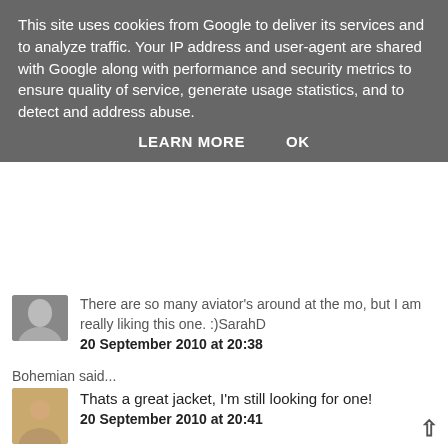This site uses cookies from Google to deliver its services and to analyze traffic. Your IP address and user-agent are shared with Google along with performance and security metrics to ensure quality of service, generate usage statistics, and to detect and address abuse.
LEARN MORE    OK
There are so many aviator's around at the mo, but I am really liking this one. :)SarahD
20 September 2010 at 20:38
Bohemian said...
Thats a great jacket, I'm still looking for one!
20 September 2010 at 20:41
Unknown said...
i like it ^^
http://londons-boutique.blogspot.com/
20 September 2010 at 20:43
Milla said...
I love this jacket!
20 September 2010 at 20:48